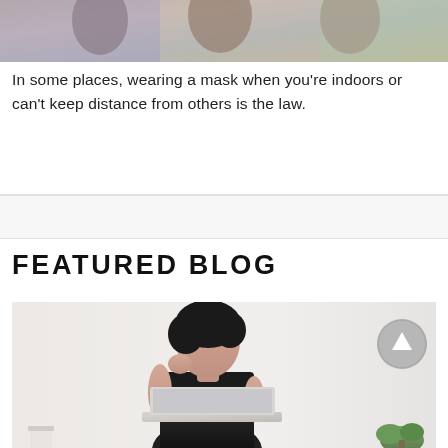[Figure (photo): Top portion of a photo showing people wearing masks indoors, partially cropped]
In some places, wearing a mask when you’re indoors or can’t keep distance from others is the law.
FEATURED BLOG
[Figure (photo): Photo of a woman with dark hair sitting at a laptop, appearing stressed or concentrated, wearing a black sleeveless top, with a small green plant visible in the lower right corner. An up-arrow circle button is overlaid in the upper right of the image.]